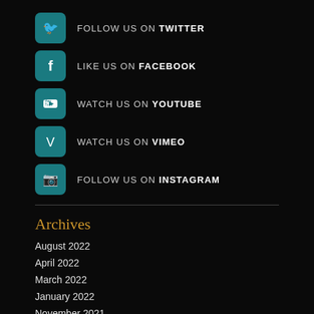FOLLOW US ON TWITTER
LIKE US ON FACEBOOK
WATCH US ON YOUTUBE
WATCH US ON VIMEO
FOLLOW US ON INSTAGRAM
Archives
August 2022
April 2022
March 2022
January 2022
November 2021
August 2021
July 2021